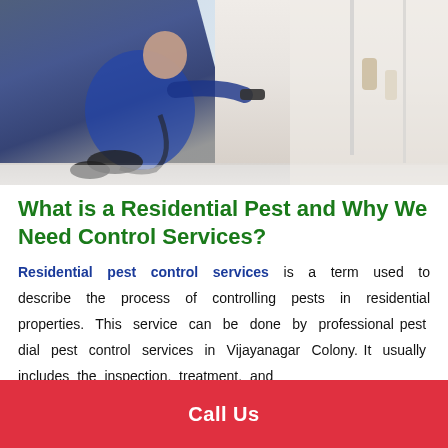[Figure (photo): A pest control professional in blue uniform kneeling and spraying pesticide near white kitchen cabinets on a white floor.]
What is a Residential Pest and Why We Need Control Services?
Residential pest control services is a term used to describe the process of controlling pests in residential properties. This service can be done by professional pest dial pest control services in Vijayanagar Colony. It usually includes the inspection, treatment, and
Call Us